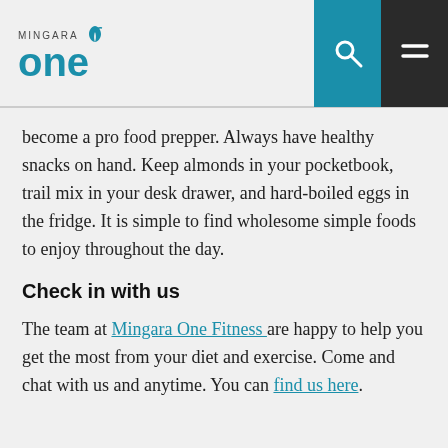MINGARA ONE
become a pro food prepper. Always have healthy snacks on hand. Keep almonds in your pocketbook, trail mix in your desk drawer, and hard-boiled eggs in the fridge. It is simple to find wholesome simple foods to enjoy throughout the day.
Check in with us
The team at Mingara One Fitness are happy to help you get the most from your diet and exercise. Come and chat with us and anytime. You can find us here.